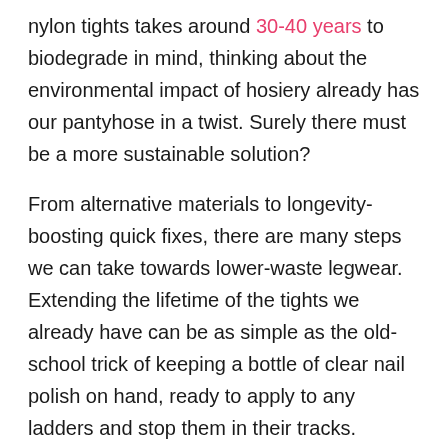nylon tights takes around 30-40 years to biodegrade in mind, thinking about the environmental impact of hosiery already has our pantyhose in a twist. Surely there must be a more sustainable solution?
From alternative materials to longevity-boosting quick fixes, there are many steps we can take towards lower-waste legwear. Extending the lifetime of the tights we already have can be as simple as the old-school trick of keeping a bottle of clear nail polish on hand, ready to apply to any ladders and stop them in their tracks. Avoiding wearing rings or other sharp jewellery when pulling them on is another easy way to avert snags and tears, while washing them in cold water by hand once every few wears means they won't get damaged in your machine.